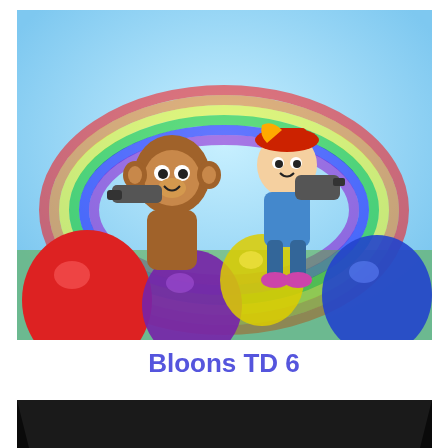[Figure (illustration): Bloons TD 6 game cover art showing two cartoon monkey characters with weapons in front of colorful balloons on a bright background]
Bloons TD 6
[Figure (illustration): Solarix game cover art showing a dark horror scene with a creature face with red eyes and the word SOLARIX at the bottom]